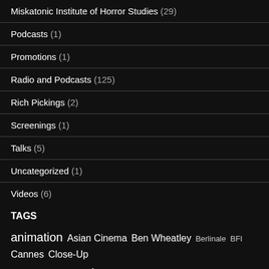Miskatonic Institute of Horror Studies (29)
Podcasts (1)
Promotions (1)
Radio and Podcasts (125)
Rich Pickings (2)
Screenings (1)
Talks (5)
Uncategorized (1)
Videos (6)
TAGS
animation Asian Cinema Ben Wheatley Berlinale BFI Cannes Close-Up comics David Lynch documentary Duke Mitchell East End Film Festival